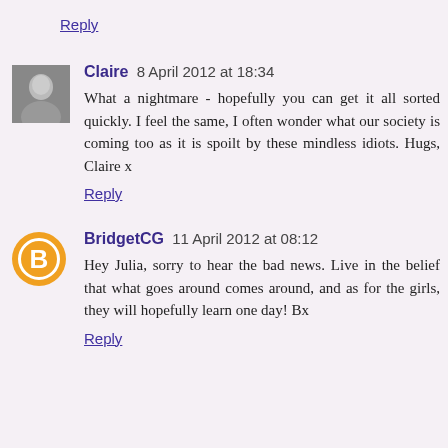Reply
Claire 8 April 2012 at 18:34
What a nightmare - hopefully you can get it all sorted quickly. I feel the same, I often wonder what our society is coming too as it is spoilt by these mindless idiots. Hugs, Claire x
Reply
BridgetCG 11 April 2012 at 08:12
Hey Julia, sorry to hear the bad news. Live in the belief that what goes around comes around, and as for the girls, they will hopefully learn one day! Bx
Reply